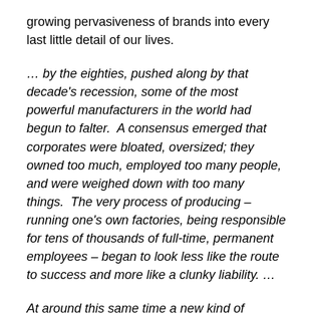growing pervasiveness of brands into every last little detail of our lives.
… by the eighties, pushed along by that decade's recession, some of the most powerful manufacturers in the world had begun to falter.  A consensus emerged that corporates were bloated, oversized; they owned too much, employed too many people, and were weighed down with too many things.  The very process of producing – running one's own factories, being responsible for tens of thousands of full-time, permanent employees – began to look less like the route to success and more like a clunky liability. …
At around this same time a new kind of corporate began to rival the traditional all-American manufacturers for market share … they were able to have their products made for